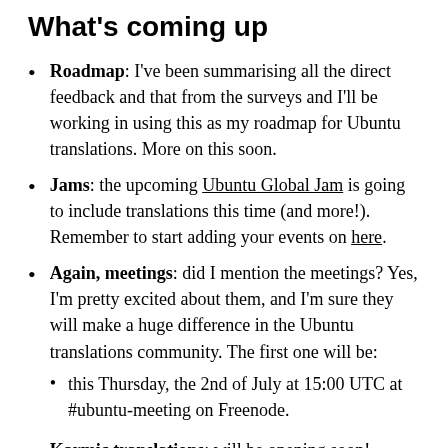What's coming up
Roadmap: I've been summarising all the direct feedback and that from the surveys and I'll be working in using this as my roadmap for Ubuntu translations. More on this soon.
Jams: the upcoming Ubuntu Global Jam is going to include translations this time (and more!). Remember to start adding your events on here.
Again, meetings: did I mention the meetings? Yes, I'm pretty excited about them, and I'm sure they will make a huge difference in the Ubuntu translations community. The first one will be:
this Thursday, the 2nd of July at 15:00 UTC at #ubuntu-meeting on Freenode.
Karmic translations: will be opening soon!